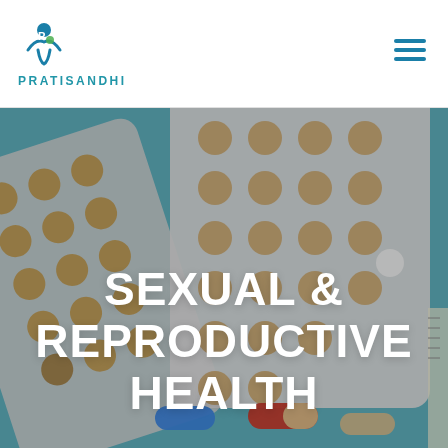PRATISANDHI
[Figure (photo): Blister packs of pills and loose capsules (red/white, blue, beige) on a teal/blue background, representing sexual and reproductive health medications.]
SEXUAL & REPRODUCTIVE HEALTH